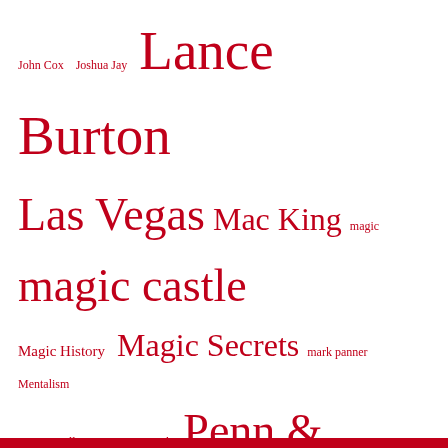[Figure (infographic): Tag cloud of magic-related terms in red text at various font sizes, including John Cox, Joshua Jay, Lance Burton, Las Vegas, Mac King, magic, magic castle, Magic History, Magic Secrets, mark panner, Mentalism, Mystic Hollow, Nozomi Sasaki, Penn & Teller, Penn and Teller, penn jillette, Pop Haydn, Shawn Farquhar, Society of American Magicians, Spiritualism, teller, The Magic Castle, Tony Spain, Whit Haydn]
Magic News Updated Daily for the Professional Magician